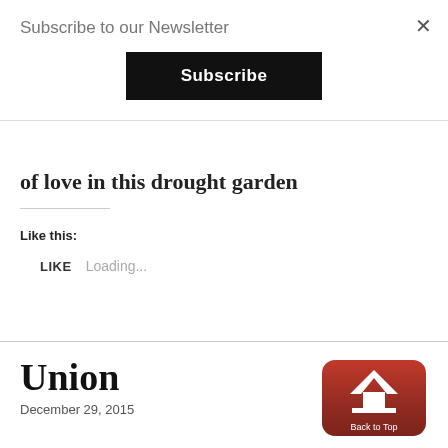Subscribe to our Newsletter
Subscribe
×
of love in this drought garden
Like this:
LIKE    Loading...
Union
December 29, 2015
[Figure (illustration): Red rounded rectangle 'Back to Top' button with white upward arrow icon and label text 'Back to Top']